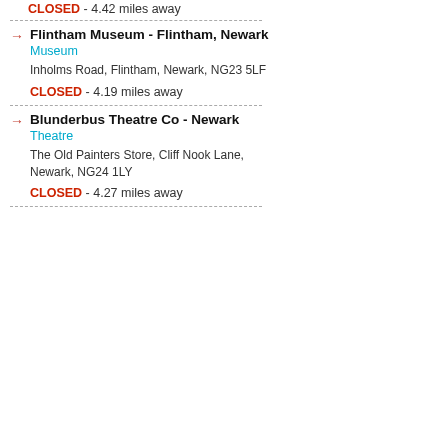CLOSED - 4.42 miles away
Flintham Museum - Flintham, Newark | Museum | Inholms Road, Flintham, Newark, NG23 5LF | CLOSED - 4.19 miles away
Blunderbus Theatre Co - Newark | Theatre | The Old Painters Store, Cliff Nook Lane, Newark, NG24 1LY | CLOSED - 4.27 miles away